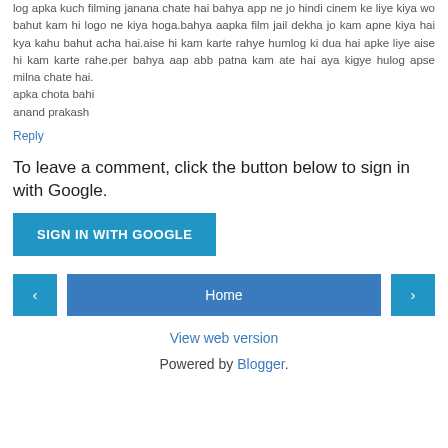log apka kuch filming janana chate hai bahya app ne jo hindi cinem ke liye kiya wo bahut kam hi logo ne kiya hoga.bahya aapka film jail dekha jo kam apne kiya hai kya kahu bahut acha hai.aise hi kam karte rahye humlog ki dua hai apke liye aise hi kam karte rahe.per bahya aap abb patna kam ate hai aya kigye hulog apse milna chate hai.
apka chota bahi
anand prakash
Reply
To leave a comment, click the button below to sign in with Google.
[Figure (other): SIGN IN WITH GOOGLE button]
[Figure (other): Navigation bar with left arrow, Home button, right arrow]
View web version
Powered by Blogger.